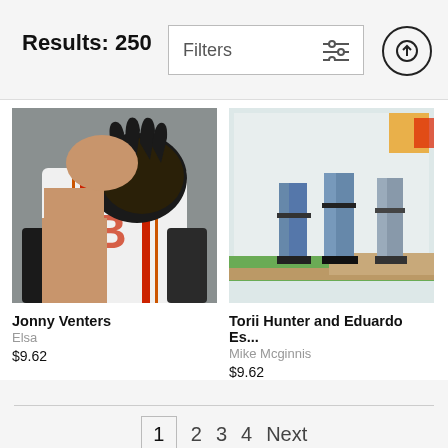Results: 250
Filters
[Figure (photo): Baseball pitcher in white Baltimore Orioles uniform holding a black Mizuno glove up near his face]
Jonny Venters
Elsa
$9.62
[Figure (photo): Two baseball players from the legs down standing on a baseball field, likely shown on a screen or scoreboard display]
Torii Hunter and Eduardo Es...
Mike Mcginnis
$9.62
1  2  3  4  Next